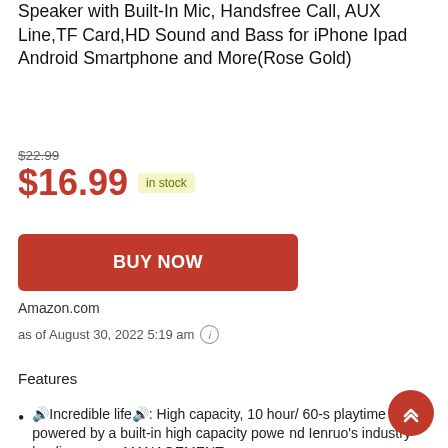Speaker with Built-In Mic, Handsfree Call, AUX Line, TF Card, HD Sound and Bass for iPhone Ipad Android Smartphone and More(Rose Gold)
$22.99
$16.99 in stock
BUY NOW
Amazon.com
as of August 30, 2022 5:19 am
Features
🔊Incredible life🔊: High capacity, 10 hour/ 60-s playtime powered by a built-in high capacity power and Ienruo's industry-leading power MANAGEMENT